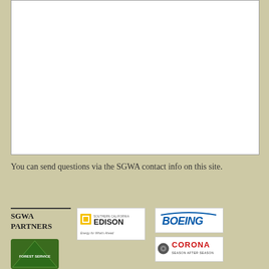[Figure (other): Large white content area / embedded media box]
You can send questions via the SGWA contact info on this site.
SGWA PARTNERS
[Figure (logo): Southern California Edison – Energy for What's Ahead logo]
[Figure (logo): Boeing logo]
[Figure (logo): Corona – Season After Season logo]
[Figure (logo): US Forest Service logo (partial, green shield)]